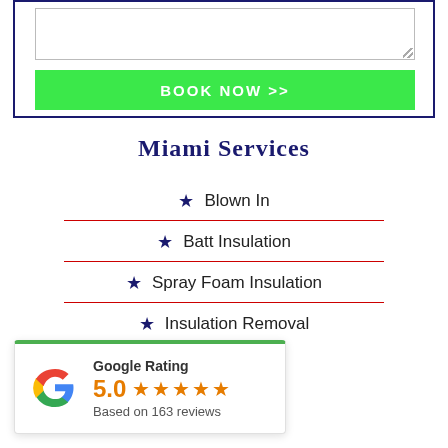[Figure (screenshot): Web form with textarea and green BOOK NOW >> button inside a dark navy border box]
Miami Services
Blown In
Batt Insulation
Spray Foam Insulation
Insulation Removal
[Figure (infographic): Google Rating widget showing 5.0 stars based on 163 reviews with Google G logo]